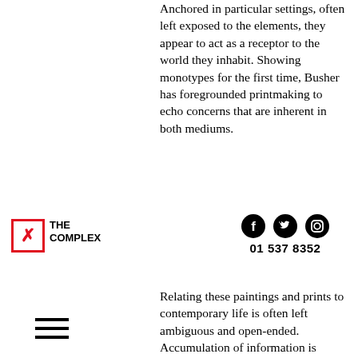Anchored in particular settings, often left exposed to the elements, they appear to act as a receptor to the world they inhabit. Showing monotypes for the first time, Busher has foregrounded printmaking to echo concerns that are inherent in both mediums.
[Figure (logo): The Complex logo: red bordered square with X mark and text THE COMPLEX]
[Figure (infographic): Social media icons (Facebook, Twitter, Instagram) and phone number 01 537 8352]
[Figure (other): Hamburger menu icon (three horizontal lines)]
Relating these paintings and prints to contemporary life is often left ambiguous and open-ended. Accumulation of information is apparent in the works, beginning as acidic grounds, a sparing process of painterly invention makes its way to the surface, often appearing as barriers to our modes of perception. Looking through, whether it be a fence, narrow opening or window frame, is an opportunity to project a mishmash of visual information. Like an open drawer, Busher digs and searches beneath a layer of memory, waiting for something to bite. Monotypes are conceived through the same process, recurring imagery is repeated in small nuances of glowing colour, transparent form or figurative